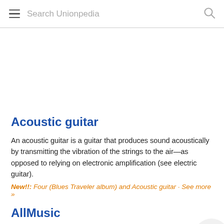Search Unionpedia
Acoustic guitar
An acoustic guitar is a guitar that produces sound acoustically by transmitting the vibration of the strings to the air—as opposed to relying on electronic amplification (see electric guitar).
New!!: Four (Blues Traveler album) and Acoustic guitar · See more »
AllMusic
AllMusic (previously known as All Music Guide or AMG) is an online music guide.